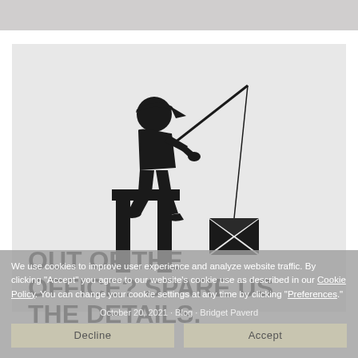[Figure (illustration): Silhouette of a boy sitting on a dock fishing, with an envelope hanging from the fishing line instead of a fish, on a light gray background.]
OUT OF THE OFFICE? SPARE US THE DETAILS.
October 20, 2021 · Blog · Bridget Paverd
We use cookies to improve user experience and analyze website traffic. By clicking "Accept" you agree to our website's cookie use as described in our Cookie Policy. You can change your cookie settings at any time by clicking "Preferences."